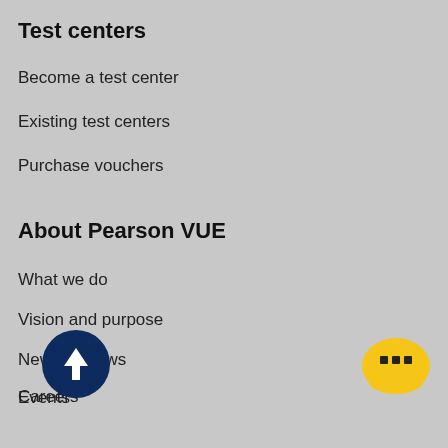Test centers
Become a test center
Existing test centers
Purchase vouchers
About Pearson VUE
What we do
Vision and purpose
News & Views
Events
Careers
[Figure (other): Dark navy circle button with upward arrow icon]
[Figure (other): Yellow rounded chat bubble button with message icon]
Recognisith